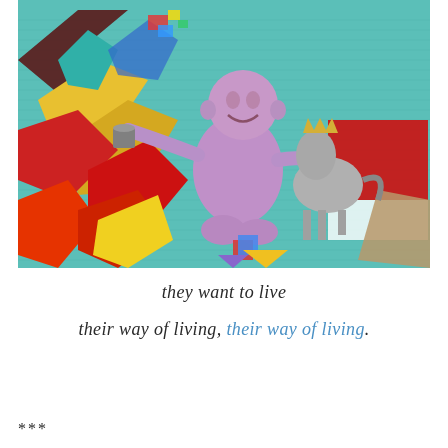[Figure (photo): Street art / graffiti mural on a wall painted teal/turquoise. Features colorful geometric graffiti lettering in reds, yellows, blues on the left side. In the center is a large painted figure of a bald baby/infant with a purple/lavender body, smiling, holding a paintbrush and bucket. To the right of the infant is a painted horse or donkey figure in grey. Background shows teal painted wall with faint horizontal ruled lines suggesting sheet music. Red, white paint sections visible on right side.]
they want to live
their way of living, their way of living.
***